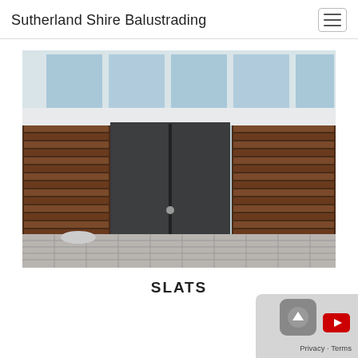Sutherland Shire Balustrading
[Figure (photo): Photograph of a wooden horizontal slat fence with a dark metal/grey double gate in the center. The fence features brown timber slats arranged horizontally. Background shows a building with glass windows. The foreground shows a tiled patio area.]
SLATS